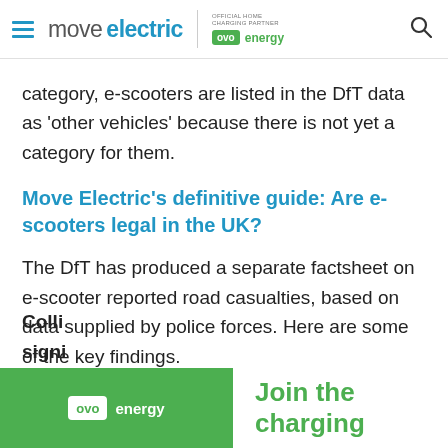move electric | OFFICIAL HOME CHARGING PARTNER ovo energy
category, e-scooters are listed in the DfT data as 'other vehicles' because there is not yet a category for them.
Move Electric's definitive guide: Are e-scooters legal in the UK?
The DfT has produced a separate factsheet on e-scooter reported road casualties, based on data supplied by police forces. Here are some of the key findings.
Colli... signi...
[Figure (advertisement): OVO Energy advertisement banner at bottom of page with green OVO logo on left and 'Join the charging' text in green on right]